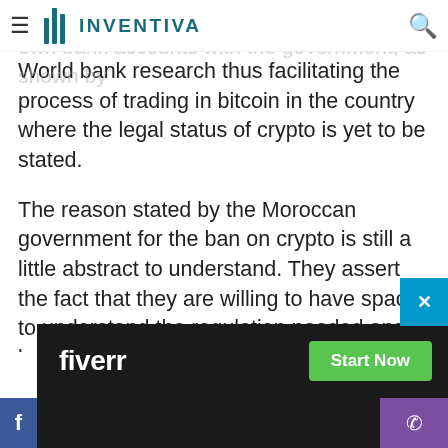INVENTIVA (navigation bar with logo)
More than 70% of locals of Morocco do not own bank accounts with the government, as shown by World bank research thus facilitating the process of trading in bitcoin in the country where the legal status of crypto is yet to be stated.
The reason stated by the Moroccan government for the ban on crypto is still a little abstract to understand. They assert the fact that they are willing to have space to understand the regulation needed and by that time, until the legal body is set up to understand the working and combat the risk associated with these digital assets, the ban will not be lifted.
[Figure (other): Fiverr advertisement banner with 'fiverr' logo in white on dark background and green 'Start Now' button]